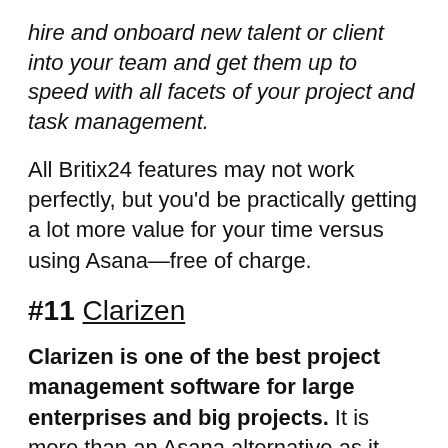hire and onboard new talent or client into your team and get them up to speed with all facets of your project and task management.
All Britix24 features may not work perfectly, but you'd be practically getting a lot more value for your time versus using Asana—free of charge.
#11 Clarizen
Clarizen is one of the best project management software for large enterprises and big projects. It is more than an Asana alternative as it offers advanced benefits such as project break down to tasks and subtasks overview, forecasting and budgeting.